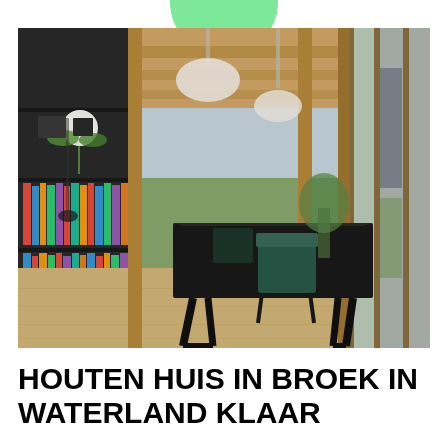[Figure (photo): Interior of a modern wooden house showing an open-plan living/dining area with exposed timber beam ceiling, a long black dining table with teal chairs, a built-in bookcase on the left wall, pendant globe lights hanging from the ceiling, and large floor-to-ceiling windows looking out to a garden and another building.]
HOUTEN HUIS IN BROEK IN WATERLAND KLAAR